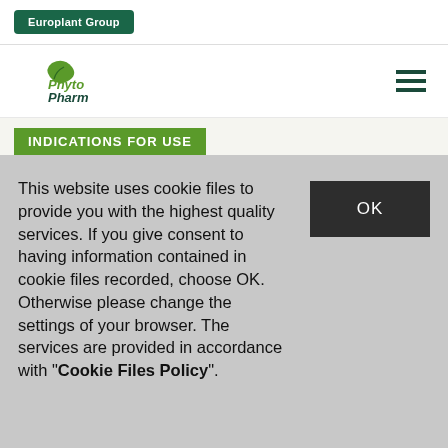Europlant Group
[Figure (logo): PhytoPharm logo with stylized leaf and green text]
INDICATIONS FOR USE
This website uses cookie files to provide you with the highest quality services. If you give consent to having information contained in cookie files recorded, choose OK. Otherwise please change the settings of your browser. The services are provided in accordance with "Cookie Files Policy".